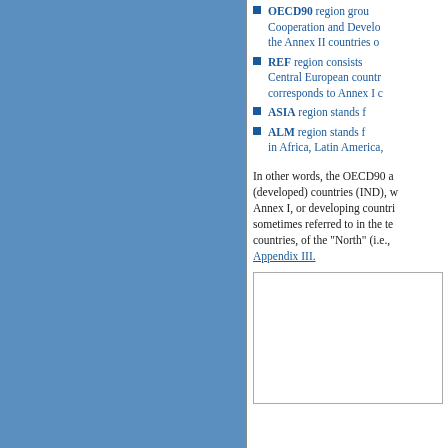OECD90 region group Cooperation and Development the Annex II countries or
REF region consists of Central European countries corresponds to Annex I c
ASIA region stands for
ALM region stands for in Africa, Latin America,
In other words, the OECD90 and (developed) countries (IND), w Annex I, or developing countri sometimes referred to in the tex countries, of the "North" (i.e., O Appendix III.